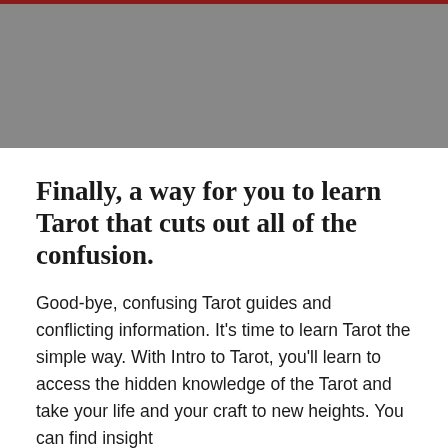[Figure (photo): Gray placeholder image area at the top of the page with a dark red/maroon bar along the very top edge.]
Finally, a way for you to learn Tarot that cuts out all of the confusion.
Good-bye, confusing Tarot guides and conflicting information. It's time to learn Tarot the simple way. With Intro to Tarot, you'll learn to access the hidden knowledge of the Tarot and take your life and your craft to new heights. You can find insight